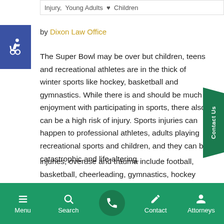Injury, Young Adults ♥ Children
[Figure (logo): Accessibility wheelchair icon in blue square]
by Dixon Law Office
The Super Bowl may be over but children, teens and recreational athletes are in the thick of winter sports like hockey, basketball and gymnastics. While there is and should be much enjoyment with participating in sports, there also can be a high risk of injury. Sports injuries can happen to professional athletes, adults playing recreational sports and children, and they can be catastrophic and life-altering.
Menu  Search  Contact  Attorneys
injuries, overuse and trauma include football, basketball, cheerleading, gymnastics, hockey